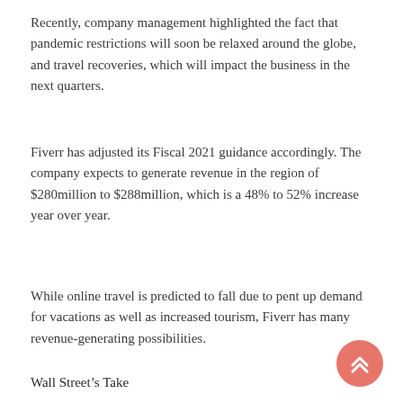Recently, company management highlighted the fact that pandemic restrictions will soon be relaxed around the globe, and travel recoveries, which will impact the business in the next quarters.
Fiverr has adjusted its Fiscal 2021 guidance accordingly. The company expects to generate revenue in the region of $280million to $288million, which is a 48% to 52% increase year over year.
While online travel is predicted to fall due to pent up demand for vacations as well as increased tourism, Fiverr has many revenue-generating possibilities.
Wall Street’s Take